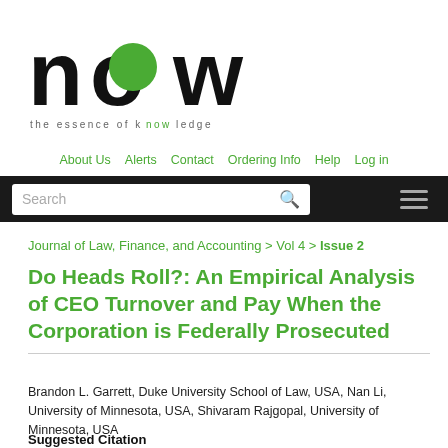[Figure (logo): NOW Publishers logo — large bold 'now' text with green circle replacing the 'o', tagline 'the essence of knowledge']
About Us   Alerts   Contact   Ordering Info   Help   Log in
Search
Journal of Law, Finance, and Accounting > Vol 4 > Issue 2
Do Heads Roll?: An Empirical Analysis of CEO Turnover and Pay When the Corporation is Federally Prosecuted
Brandon L. Garrett, Duke University School of Law, USA, Nan Li, University of Minnesota, USA, Shivaram Rajgopal, University of Minnesota, USA
Suggested Citation